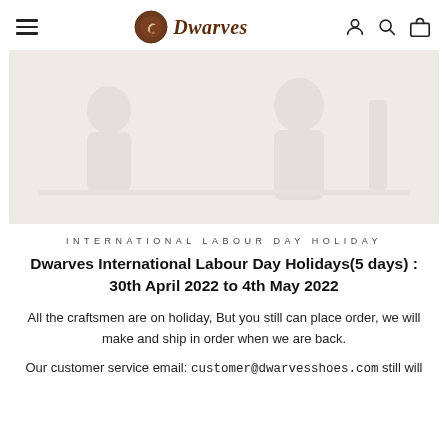Dwarves [logo] — navigation header with hamburger menu, Dwarves logo, and icons for account, search, cart
[Figure (photo): Light grey/beige hero banner image with faint watermark of craftsmen or shoe-related imagery]
INTERNATIONAL LABOUR DAY HOLIDAY
Dwarves International Labour Day Holidays(5 days) : 30th April 2022 to 4th May 2022
All the craftsmen are on holiday, But you still can place order, we will make and ship in order when we are back.
Our customer service email: customer@dwarvesshoes.com still will